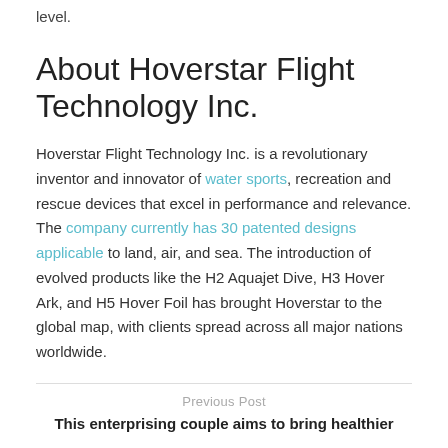level.
About Hoverstar Flight Technology Inc.
Hoverstar Flight Technology Inc. is a revolutionary inventor and innovator of water sports, recreation and rescue devices that excel in performance and relevance. The company currently has 30 patented designs applicable to land, air, and sea. The introduction of evolved products like the H2 Aquajet Dive, H3 Hover Ark, and H5 Hover Foil has brought Hoverstar to the global map, with clients spread across all major nations worldwide.
Previous Post
This enterprising couple aims to bring healthier